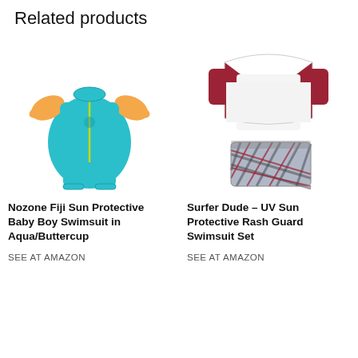Related products
[Figure (photo): Nozone Fiji Sun Protective Baby Boy Swimsuit in Aqua/Buttercup — a teal/aqua full-body baby swimsuit with orange sleeves]
Nozone Fiji Sun Protective Baby Boy Swimsuit in Aqua/Buttercup
SEE AT AMAZON
[Figure (photo): Surfer Dude UV Sun Protective Rash Guard Swimsuit Set — white rash guard shirt with dark red shoulders on top, plaid board shorts on bottom]
Surfer Dude – UV Sun Protective Rash Guard Swimsuit Set
SEE AT AMAZON